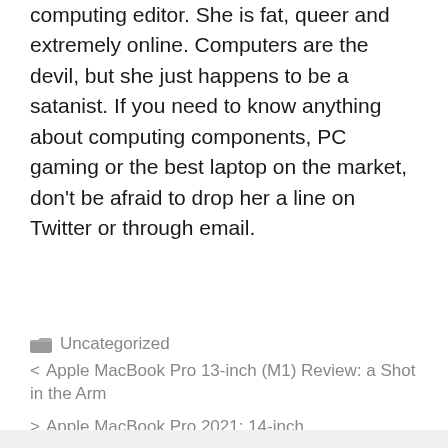computing editor. She is fat, queer and extremely online. Computers are the devil, but she just happens to be a satanist. If you need to know anything about computing components, PC gaming or the best laptop on the market, don't be afraid to drop her a line on Twitter or through email.
Uncategorized
< Apple MacBook Pro 13-inch (M1) Review: a Shot in the Arm
> Apple MacBook Pro 2021: 14-inch